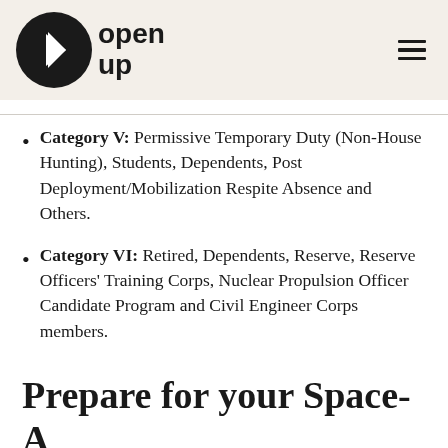open up
Category V: Permissive Temporary Duty (Non-House Hunting), Students, Dependents, Post Deployment/Mobilization Respite Absence and Others.
Category VI: Retired, Dependents, Reserve, Reserve Officers' Training Corps, Nuclear Propulsion Officer Candidate Program and Civil Engineer Corps members.
Prepare for your Space-A